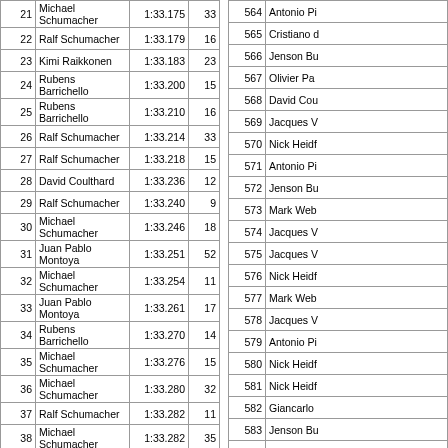| # | Driver | Time | Lap |
| --- | --- | --- | --- |
| 21 | Michael Schumacher | 1:33.175 | 33 |
| 22 | Ralf Schumacher | 1:33.179 | 16 |
| 23 | Kimi Raikkonen | 1:33.183 | 23 |
| 24 | Rubens Barrichello | 1:33.200 | 15 |
| 25 | Rubens Barrichello | 1:33.210 | 16 |
| 26 | Ralf Schumacher | 1:33.214 | 33 |
| 27 | Ralf Schumacher | 1:33.218 | 15 |
| 28 | David Coulthard | 1:33.236 | 12 |
| 29 | Ralf Schumacher | 1:33.240 | 9 |
| 30 | Michael Schumacher | 1:33.246 | 18 |
| 31 | Juan Pablo Montoya | 1:33.251 | 52 |
| 32 | Michael Schumacher | 1:33.254 | 11 |
| 33 | Juan Pablo Montoya | 1:33.261 | 17 |
| 34 | Rubens Barrichello | 1:33.270 | 14 |
| 35 | Michael Schumacher | 1:33.276 | 15 |
| 36 | Michael Schumacher | 1:33.280 | 32 |
| 37 | Ralf Schumacher | 1:33.282 | 11 |
| 38 | Michael Schumacher | 1:33.282 | 35 |
| 39 | Kimi Raikkonen | 1:33.297 | 8 |
| 40 | Fernando Alonso | 1:33.307 | 17 |
| 41 | Kimi Raikkonen | 1:33.310 | 7 |
| # | Driver |
| --- | --- |
| 564 | Antonio Pi... |
| 565 | Cristiano d... |
| 566 | Jenson Bu... |
| 567 | Olivier Pa... |
| 568 | David Cou... |
| 569 | Jacques V... |
| 570 | Nick Heidf... |
| 571 | Antonio Pi... |
| 572 | Jenson Bu... |
| 573 | Mark Web... |
| 574 | Jacques V... |
| 575 | Jacques V... |
| 576 | Nick Heidf... |
| 577 | Mark Web... |
| 578 | Jacques V... |
| 579 | Antonio Pi... |
| 580 | Nick Heidf... |
| 581 | Nick Heidf... |
| 582 | Giancarlo ... |
| 583 | Jenson Bu... |
| 584 | Nick Heidf... |